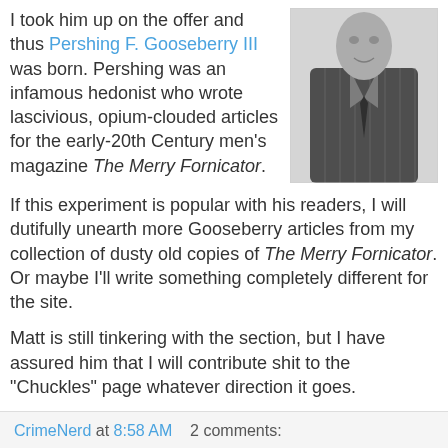I took him up on the offer and thus Pershing F. Gooseberry III was born. Pershing was an infamous hedonist who wrote lascivious, opium-clouded articles for the early-20th Century men's magazine The Merry Fornicator.
[Figure (photo): Black and white photo of a man in a pinstripe suit]
If this experiment is popular with his readers, I will dutifully unearth more Gooseberry articles from my collection of dusty old copies of The Merry Fornicator. Or maybe I'll write something completely different for the site.
Matt is still tinkering with the section, but I have assured him that I will contribute shit to the "Chuckles" page whatever direction it goes.
Whenever some shit goes up over there, I'll give you a heads-up here at the home-base, the safe-haven, the dank-and-dingy basement that is Nerd of Noir.
CrimeNerd at 8:58 AM   2 comments: